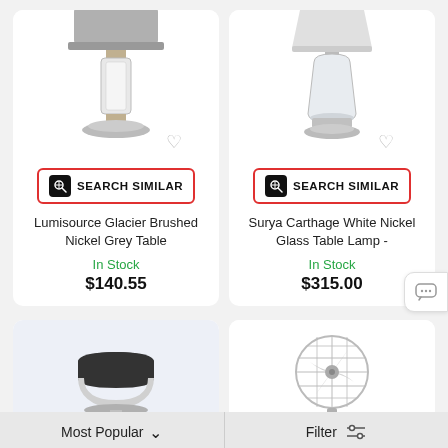[Figure (photo): Lumisource Glacier Brushed Nickel Grey Table Lamp product image, partially cropped at top, with heart/wishlist icon and Search Similar button]
Lumisource Glacier Brushed Nickel Grey Table
In Stock
$140.55
[Figure (photo): Surya Carthage White Nickel Glass Table Lamp product image, partially cropped at top, with heart/wishlist icon and Search Similar button]
Surya Carthage White Nickel Glass Table Lamp -
In Stock
$315.00
[Figure (photo): Bar stool with brushed nickel metal frame and black cushion seat, on light blue/grey background]
[Figure (photo): Vintage-style brushed nickel floor fan on stand]
Most Popular   Filter